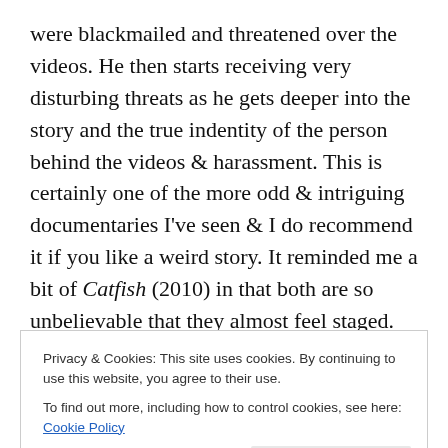were blackmailed and threatened over the videos. He then starts receiving very disturbing threats as he gets deeper into the story and the true indentity of the person behind the videos & harassment. This is certainly one of the more odd & intriguing documentaries I've seen & I do recommend it if you like a weird story. It reminded me a bit of Catfish (2010) in that both are so unbelievable that they almost feel staged. But I don't think this was – it just needs to be seen to be believed. (This probably deserves a higher rating but I'm not a huge fan of documentaries & tend to rate them lower)... 6.5/10
Privacy & Cookies: This site uses cookies. By continuing to use this website, you agree to their use.
To find out more, including how to control cookies, see here: Cookie Policy
- Teen Witch – hahaha. Oh. Wow. This is BAD. I'm not